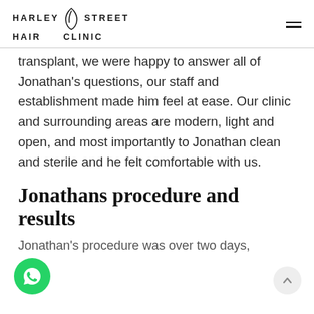HARLEY STREET HAIR CLINIC
transplant, we were happy to answer all of Jonathan's questions, our staff and establishment made him feel at ease. Our clinic and surrounding areas are modern, light and open, and most importantly to Jonathan clean and sterile and he felt comfortable with us.
Jonathans procedure and results
Jonathan's procedure was over two days,